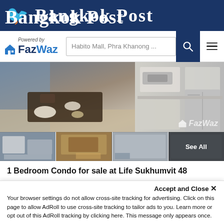Bangkok Post
Powered by FazWaz | Habito Mall, Phra Khanong ...
[Figure (photo): Interior photo of a condo unit showing dining table, kitchen area with sink and cabinets, with FazWaz watermark. Thumbnail row below showing four smaller interior photos of the same condo unit, with 'See All' overlay on last thumbnail.]
1 Bedroom Condo for sale at Life Sukhumvit 48
Life Sukhumvit 48, Condominium developed by AP. Sitated on Sukhumvit 48. Only 600 metres away from BTS Phrakanong station. Surrounded by Malls...
Accept and Close ×
Your browser settings do not allow cross-site tracking for advertising. Click on this page to allow AdRoll to use cross-site tracking to tailor ads to you. Learn more or opt out of this AdRoll tracking by clicking here. This message only appears once.